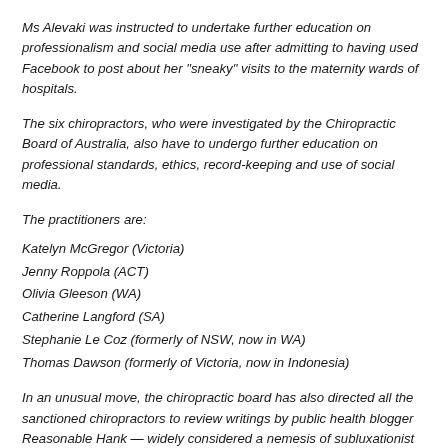Ms Alevaki was instructed to undertake further education on professionalism and social media use after admitting to having used Facebook to post about her "sneaky" visits to the maternity wards of hospitals.
The six chiropractors, who were investigated by the Chiropractic Board of Australia, also have to undergo further education on professional standards, ethics, record-keeping and use of social media.
The practitioners are:
Katelyn McGregor (Victoria)
Jenny Roppola (ACT)
Olivia Gleeson (WA)
Catherine Langford (SA)
Stephanie Le Coz (formerly of NSW, now in WA)
Thomas Dawson (formerly of Victoria, now in Indonesia)
In an unusual move, the chiropractic board has also directed all the sanctioned chiropractors to review writings by public health blogger Reasonable Hank — widely considered a nemesis of subluxationist chiropractors within the profession.
It was a blog post on Reasonable Hank's website in September 2013